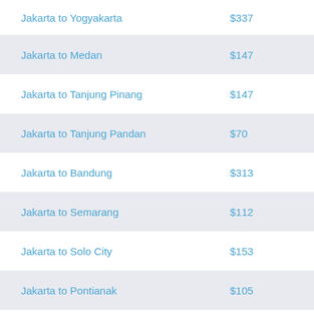| Route | Price |
| --- | --- |
| Jakarta to Yogyakarta | $337 |
| Jakarta to Medan | $147 |
| Jakarta to Tanjung Pinang | $147 |
| Jakarta to Tanjung Pandan | $70 |
| Jakarta to Bandung | $313 |
| Jakarta to Semarang | $112 |
| Jakarta to Solo City | $153 |
| Jakarta to Pontianak | $105 |